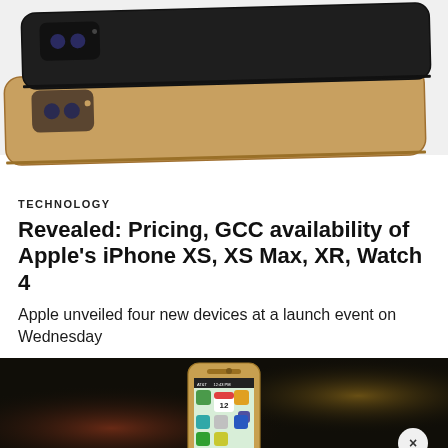[Figure (photo): Two iPhones (black and gold/space gray) from the rear, overlapping, showing dual camera modules]
TECHNOLOGY
Revealed: Pricing, GCC availability of Apple’s iPhone XS, XS Max, XR, Watch 4
Apple unveiled four new devices at a launch event on Wednesday
[Figure (photo): Old gold iPhone shown against a dark background with bokeh lighting, screen showing home screen with app icons and calendar showing 12]
[Figure (infographic): GBTech Web3 Awards 2022 advertisement banner: NOMINATIONS OPEN, Nominations Close on September 2nd, CLICK HERE button, with X close button]